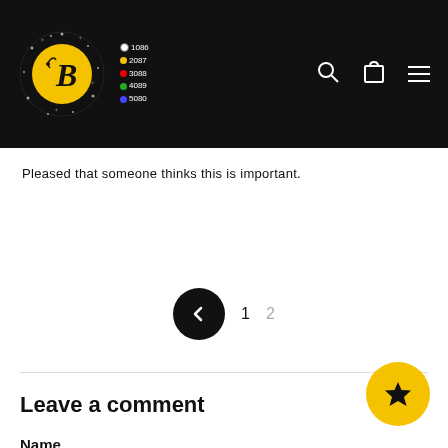[Figure (logo): Website header with dark background. Yellow circular logo with letter B and decorative elements. Legend showing colored dots: white 1086, yellow 2087, red 3088, green 4089, blue 5080. Navigation icons: search, cart, hamburger menu.]
Pleased that someone thinks this is important.
[Figure (other): Pagination control: left arrow button (dark circle) and page numbers 1 and 2]
Leave a comment
Name
[Figure (other): Yellow circular button with star icon in bottom right corner]